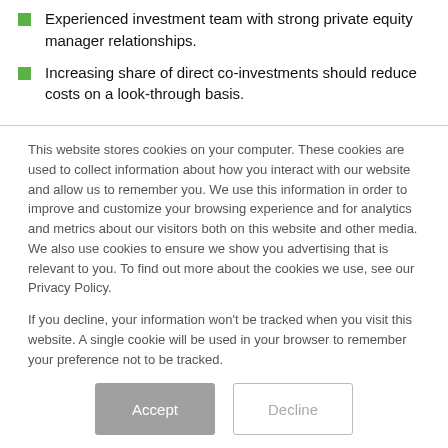Experienced investment team with strong private equity manager relationships.
Increasing share of direct co-investments should reduce costs on a look-through basis.
This website stores cookies on your computer. These cookies are used to collect information about how you interact with our website and allow us to remember you. We use this information in order to improve and customize your browsing experience and for analytics and metrics about our visitors both on this website and other media. We also use cookies to ensure we show you advertising that is relevant to you. To find out more about the cookies we use, see our Privacy Policy.

If you decline, your information won't be tracked when you visit this website. A single cookie will be used in your browser to remember your preference not to be tracked.
Accept
Decline